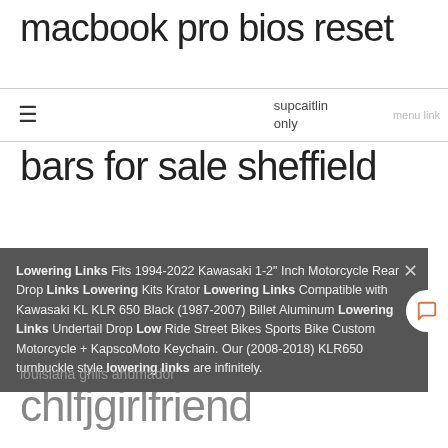macbook pro bios reset
≡   supcaitlin only
bars for sale sheffield
Lowering Links Fits 1994-2022 Kawasaki 1-2" Inch Motorcycle Rear Drop Links Lowering Kits Krator Lowering Links Compatible with Kawasaki KL KLR 650 Black (1987-2007) Billet Aluminum Lowering Links Undertail Drop Low Ride Street Bikes Sports Bike Custom Motorcycle + KapscoMoto Keychain. Our (2008-2018) KLR650 turnbuckle style lowering links are infinitely.
518 cat skidder tire size
louisiana grills ahumador
chlfjgirlfriend